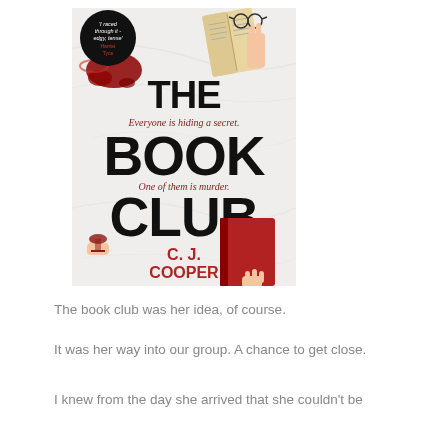[Figure (illustration): Book cover of 'The Book Club' by C. J. Cooper. White marble background with a top-down view showing hands, glasses, open book, red wine glass, and red books. Title text in large black sans-serif: 'THE BOOK CLUB'. Taglines in dark red: 'Everyone is hiding a secret.' and 'One of them is murder.' Author name in red: 'C. J. COOPER'. Badge/circle in top left with quote: 'I raced through it - edgy, tense' Harriet Tyce.]
The book club was her idea, of course.
It was her way into our group. A chance to get close.
I knew from the day she arrived that she couldn't be